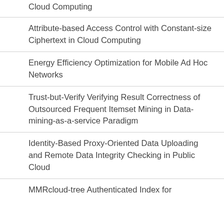Cloud Computing
Attribute-based Access Control with Constant-size Ciphertext in Cloud Computing
Energy Efficiency Optimization for Mobile Ad Hoc Networks
Trust-but-Verify Verifying Result Correctness of Outsourced Frequent Itemset Mining in Data-mining-as-a-service Paradigm
Identity-Based Proxy-Oriented Data Uploading and Remote Data Integrity Checking in Public Cloud
MMRcloud-tree Authenticated Index for